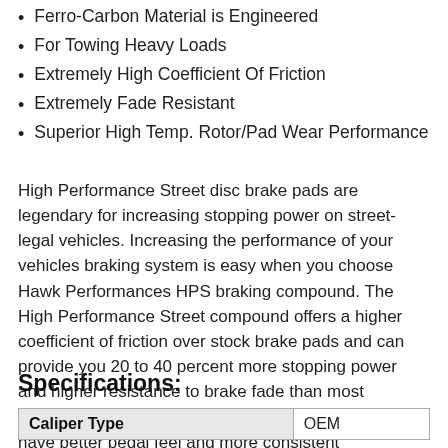Ferro-Carbon Material is Engineered
For Towing Heavy Loads
Extremely High Coefficient Of Friction
Extremely Fade Resistant
Superior High Temp. Rotor/Pad Wear Performance
High Performance Street disc brake pads are legendary for increasing stopping power on street-legal vehicles. Increasing the performance of your vehicles braking system is easy when you choose Hawk Performances HPS braking compound. The High Performance Street compound offers a higher coefficient of friction over stock brake pads and can provide you 20 to 40 percent more stopping power and higher resistance to brake fade than most standard replacement pads. Less fade means you will have better pedal feel and more consistent performance in a durable brake pad that generates less brake dust.
Specifications:
| Caliper Type | OEM |
| --- | --- |